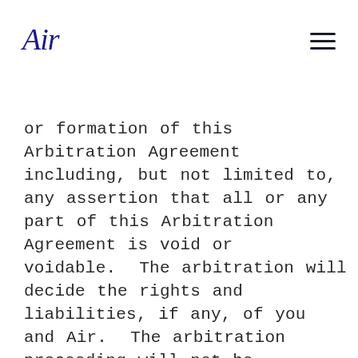Air (logo) | menu
or formation of this Arbitration Agreement including, but not limited to, any assertion that all or any part of this Arbitration Agreement is void or voidable.  The arbitration will decide the rights and liabilities, if any, of you and Air.  The arbitration proceeding will not be consolidated with any other matters or joined with any other cases or parties.  The arbitrator shall have the authority to grant motions dispositive of all or part of any claim. The arbitrator shall have the authority to award monetary damages and to grant any non-monetary remedy or relief available to an individual under applicable law, the arbitral forum's rules, and the